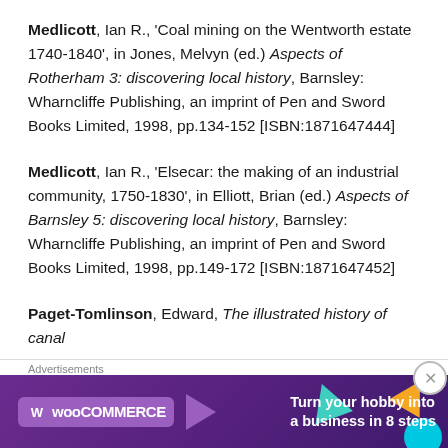Medlicott, Ian R., 'Coal mining on the Wentworth estate 1740-1840', in Jones, Melvyn (ed.) Aspects of Rotherham 3: discovering local history, Barnsley: Wharncliffe Publishing, an imprint of Pen and Sword Books Limited, 1998, pp.134-152 [ISBN:1871647444]
Medlicott, Ian R., 'Elsecar: the making of an industrial community, 1750-1830', in Elliott, Brian (ed.) Aspects of Barnsley 5: discovering local history, Barnsley: Wharncliffe Publishing, an imprint of Pen and Sword Books Limited, 1998, pp.149-172 [ISBN:1871647452]
Paget-Tomlinson, Edward, The illustrated history of canal...
Advertisements
[Figure (illustration): WooCommerce advertisement banner with purple background, teal and orange triangle shapes, cyan circle, WooCommerce logo, and text 'Turn your hobby into a business in 8 steps']